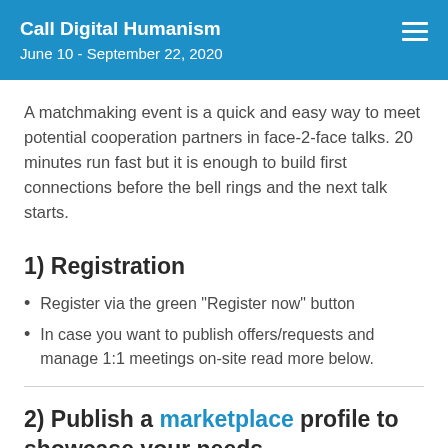Call Digital Humanism
June 10 - September 22, 2020
A matchmaking event is a quick and easy way to meet potential cooperation partners in face-2-face talks. 20 minutes run fast but it is enough to build first connections before the bell rings and the next talk starts.
1) Registration
Register via the green "Register now" button
In case you want to publish offers/requests and manage 1:1 meetings on-site read more below.
2) Publish a marketplace profile to showcase your needs